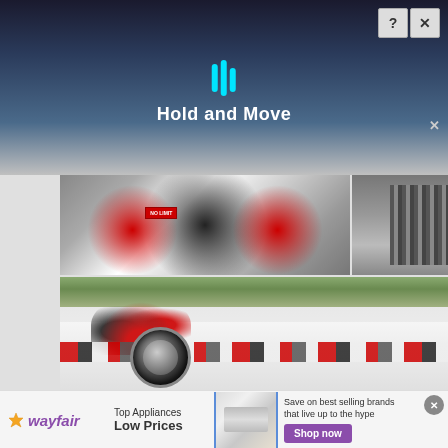[Figure (screenshot): Web page screenshot showing images of a customized white Ford F-Series Super Duty truck with red/black/white camouflage wrap on fenders and body sides. Top overlay shows 'Hold and Move' drag interface with cyan icon bars. Bottom shows a Wayfair advertisement banner.]
Hold and Move
SUPER DUTY
[Figure (photo): Rear view of white Ford Super Duty truck with red/black/white camo paint on bumper area, NO LIMIT license plate holder visible]
[Figure (photo): Close-up of truck detail showing chrome/black striped element]
[Figure (photo): Side view of white Ford Super Duty truck showing red/black/white camouflage wrap on fender flares and rocker panels, lifted with chrome wheels]
wayfair
Top Appliances
Low Prices
Save on best selling brands that live up to the hype
Shop now